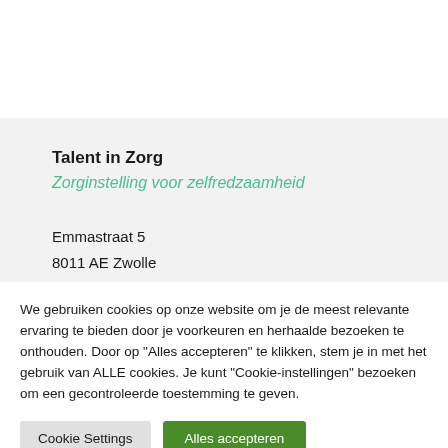Talent in Zorg
Zorginstelling voor zelfredzaamheid
Emmastraat 5
8011 AE Zwolle
We gebruiken cookies op onze website om je de meest relevante ervaring te bieden door je voorkeuren en herhaalde bezoeken te onthouden. Door op "Alles accepteren" te klikken, stem je in met het gebruik van ALLE cookies. Je kunt "Cookie-instellingen" bezoeken om een gecontroleerde toestemming te geven.
Cookie Settings
Alles accepteren